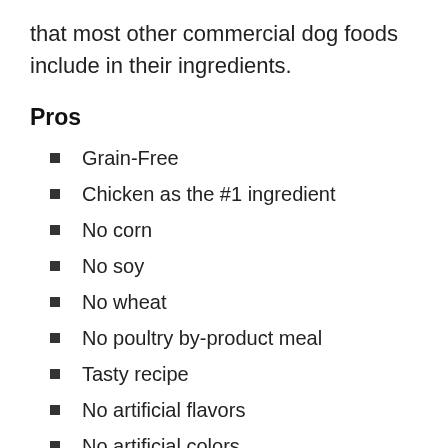that most other commercial dog foods include in their ingredients.
Pros
Grain-Free
Chicken as the #1 ingredient
No corn
No soy
No wheat
No poultry by-product meal
Tasty recipe
No artificial flavors
No artificial colors
No artificial preservatives